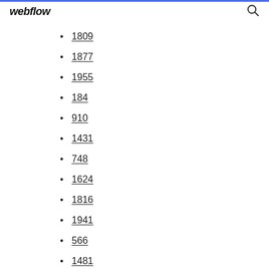webflow
1809
1877
1955
184
910
1431
748
1624
1816
1941
566
1481